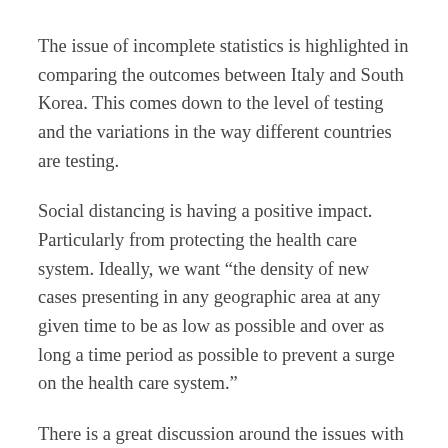The issue of incomplete statistics is highlighted in comparing the outcomes between Italy and South Korea. This comes down to the level of testing and the variations in the way different countries are testing.
Social distancing is having a positive impact. Particularly from protecting the health care system. Ideally, we want “the density of new cases presenting in any geographic area at any given time to be as low as possible and over as long a time period as possible to prevent a surge on the health care system.”
There is a great discussion around the issues with testing. There are a lot of variables.  At the risk of sounding repetitive we need lots of testing. “We need to know how much of the disease is out there so we can